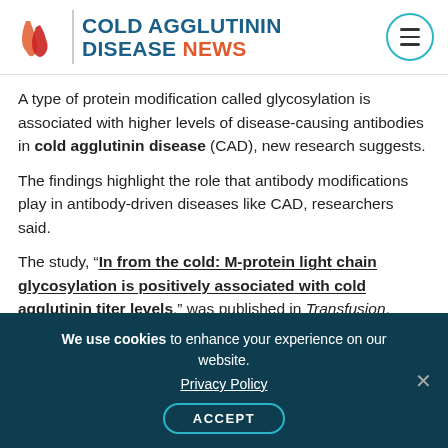COLD AGGLUTININ DISEASE NEWS
A type of protein modification called glycosylation is associated with higher levels of disease-causing antibodies in cold agglutinin disease (CAD), new research suggests.
The findings highlight the role that antibody modifications play in antibody-driven diseases like CAD, researchers said.
The study, “In from the cold: M-protein light chain glycosylation is positively associated with cold agglutinin titer levels,” was published in Transfusion.
We use cookies to enhance your experience on our website. Privacy Policy ACCEPT